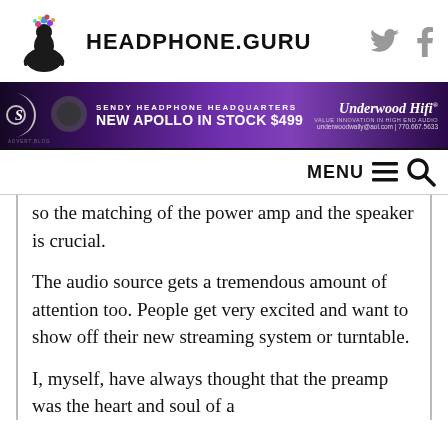HEADPHONE.GURU
[Figure (infographic): Headphone.Guru website advertisement banner for Underwood HiFi - Sendy Headphone Headquarters, New Apollo In Stock $499, underwoodwally@aol.com | 770.667.5633]
so the matching of the power amp and the speaker is crucial.
The audio source gets a tremendous amount of attention too. People get very excited and want to show off their new streaming system or turntable.
I, myself, have always thought that the preamp was the heart and soul of a